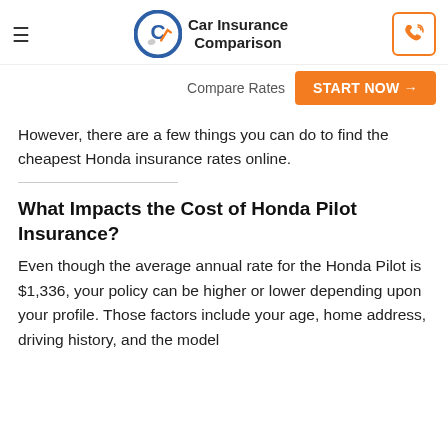Car Insurance Comparison — Compare Rates START NOW →
However, there are a few things you can do to find the cheapest Honda insurance rates online.
What Impacts the Cost of Honda Pilot Insurance?
Even though the average annual rate for the Honda Pilot is $1,336, your policy can be higher or lower depending upon your profile. Those factors include your age, home address, driving history, and the model